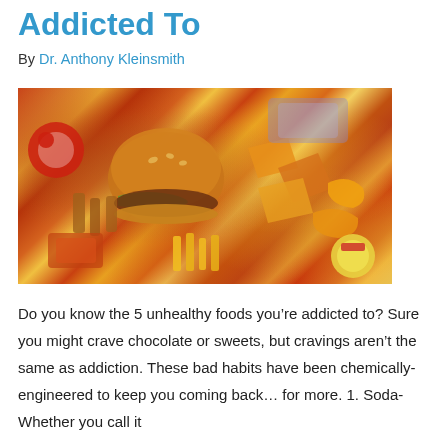Addicted To
By Dr. Anthony Kleinsmith
[Figure (photo): Overhead photo of a variety of unhealthy junk foods including a hamburger, chips, pretzels, candy, and condiments packed together.]
Do you know the 5 unhealthy foods you’re addicted to? Sure you might crave chocolate or sweets, but cravings aren’t the same as addiction. These bad habits have been chemically-engineered to keep you coming back… for more. 1. Soda- Whether you call it